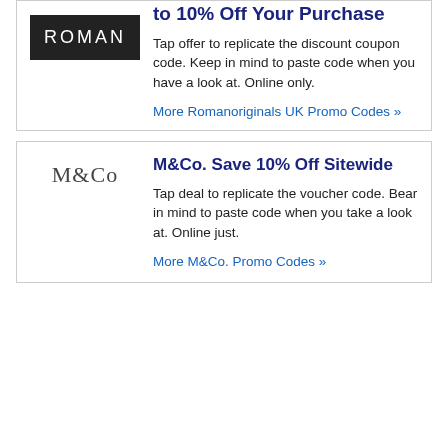to 10% Off Your Purchase
[Figure (logo): ROMAN logo - white text on dark/black background]
Tap offer to replicate the discount coupon code. Keep in mind to paste code when you have a look at. Online only.
More Romanoriginals UK Promo Codes »
M&Co. Save 10% Off Sitewide
[Figure (logo): M&Co logo in serif font]
Tap deal to replicate the voucher code. Bear in mind to paste code when you take a look at. Online just.
More M&Co. Promo Codes »